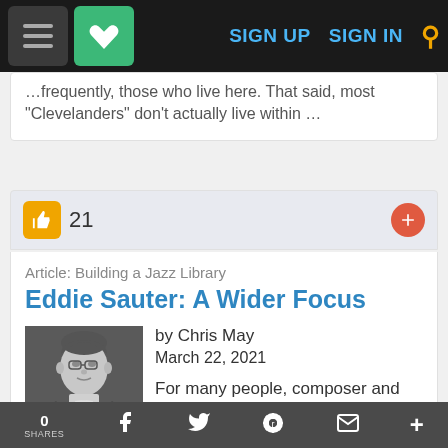Navigation bar with hamburger menu, heart/favorites icon, SIGN UP, SIGN IN, and search icon
"Clevelanders" don't actually live within ...
21
Article: Building a Jazz Library
Eddie Sauter: A Wider Focus
by Chris May
March 22, 2021
[Figure (photo): Black and white portrait photo of Eddie Sauter wearing glasses and a suit]
For many people, composer and arranger Eddie Sauter's reputation
0 SHARES — social share icons: Facebook, Twitter, Reddit, Email, More